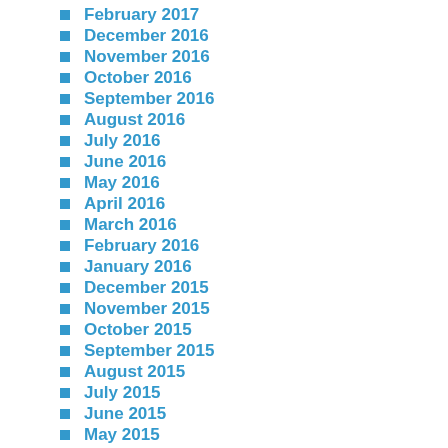February 2017
December 2016
November 2016
October 2016
September 2016
August 2016
July 2016
June 2016
May 2016
April 2016
March 2016
February 2016
January 2016
December 2015
November 2015
October 2015
September 2015
August 2015
July 2015
June 2015
May 2015